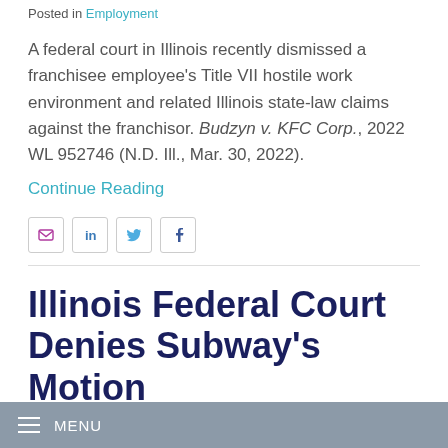Posted in Employment
A federal court in Illinois recently dismissed a franchisee employee's Title VII hostile work environment and related Illinois state-law claims against the franchisor. Budzyn v. KFC Corp., 2022 WL 952746 (N.D. Ill., Mar. 30, 2022).
Continue Reading
[Figure (other): Social sharing icons: email, LinkedIn, Twitter, Facebook]
Illinois Federal Court Denies Subway's Motion